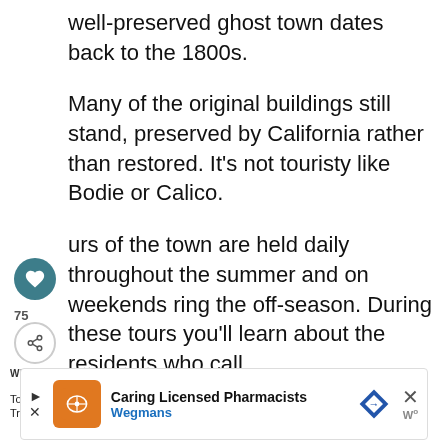well-preserved ghost town dates back to the 1800s.
Many of the original buildings still stand, preserved by California rather than restored. It’s not touristy like Bodie or Calico.
Tours of the town are held daily throughout the summer and on weekends during the off-season. During these tours you’ll learn about the residents who call home in the 1800s.
[Figure (screenshot): Heart/like button UI overlay (teal circle with heart icon), share count 75, and share button]
[Figure (screenshot): What's Next widget showing Towing A Travel Traile... with circular thumbnail photo]
[Figure (screenshot): Advertisement banner for Wegmans Caring Licensed Pharmacists with orange logo, blue diamond direction icon, and close button]